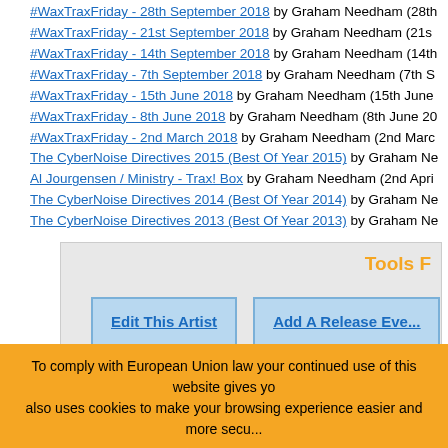#WaxTraxFriday - 28th September 2018 by Graham Needham (28th...
#WaxTraxFriday - 21st September 2018 by Graham Needham (21s...
#WaxTraxFriday - 14th September 2018 by Graham Needham (14th...
#WaxTraxFriday - 7th September 2018 by Graham Needham (7th S...
#WaxTraxFriday - 15th June 2018 by Graham Needham (15th June...
#WaxTraxFriday - 8th June 2018 by Graham Needham (8th June 2...
#WaxTraxFriday - 2nd March 2018 by Graham Needham (2nd Marc...
The CyberNoise Directives 2015 (Best Of Year 2015) by Graham Ne...
Al Jourgensen / Ministry - Trax! Box by Graham Needham (2nd Apri...
The CyberNoise Directives 2014 (Best Of Year 2014) by Graham Ne...
The CyberNoise Directives 2013 (Best Of Year 2013) by Graham Ne...
Tools F...
Edit This Artist
Add A Release Eve...
Ac...
To comply with European Union law your continued use of this website gives yo... also uses cookies to make your browsing experience easier and more secu...